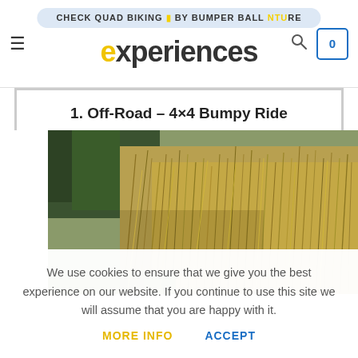CHECK QUAD BIKING ADVENTURE — experiences — hamburger menu, search, cart (0)
1. Off-Road – 4×4 Bumpy Ride
[Figure (photo): Landscape photo of wild grass and bare shrubs/trees, yellowish-brown dried vegetation with dark evergreen trees in background, outdoor nature scene]
We use cookies to ensure that we give you the best experience on our website. If you continue to use this site we will assume that you are happy with it.
MORE INFO   ACCEPT